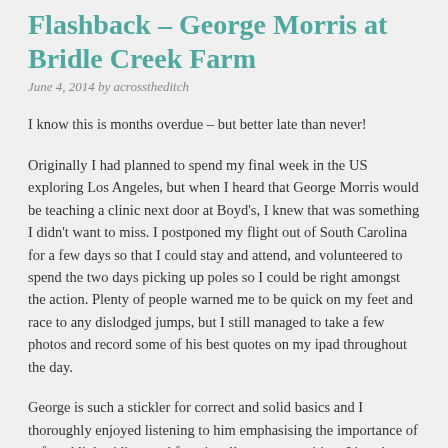Flashback – George Morris at Bridle Creek Farm
June 4, 2014 by acrosstheditch
I know this is months overdue – but better late than never!
Originally I had planned to spend my final week in the US exploring Los Angeles, but when I heard that George Morris would be teaching a clinic next door at Boyd's, I knew that was something I didn't want to miss. I postponed my flight out of South Carolina for a few days so that I could stay and attend, and volunteered to spend the two days picking up poles so I could be right amongst the action. Plenty of people warned me to be quick on my feet and race to any dislodged jumps, but I still managed to take a few photos and record some of his best quotes on my ipad throughout the day.
George is such a stickler for correct and solid basics and I thoroughly enjoyed listening to him emphasising the importance of soft and light riding, and functionally correct position. It's quite humbling to know that even Olympians can struggle with the basics – Phillip's heels became a bit of a running joke over the two days! It was really interesting watching George